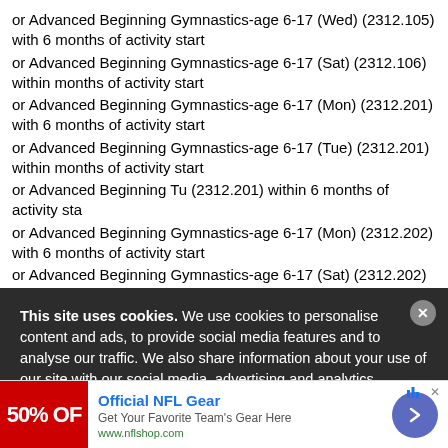or Advanced Beginning Gymnastics-age 6-17 (Wed) (2312.105) within 6 months of activity start
or Advanced Beginning Gymnastics-age 6-17 (Sat) (2312.106) within 6 months of activity start
or Advanced Beginning Gymnastics-age 6-17 (Mon) (2312.201) within 6 months of activity start
or Advanced Beginning Gymnastics-age 6-17 (Tue) (2312.201) within 6 months of activity start
or Advanced Beginning Tu (2312.201) within 6 months of activity start
or Advanced Beginning Gymnastics-age 6-17 (Mon) (2312.202) within 6 months of activity start
or Advanced Beginning Gymnastics-age 6-17 (Sat) (2312.202) within...
This site uses cookies. We use cookies to personalise content and ads, to provide social media features and to analyse our traffic. We also share information about your use of our site with our social media, advertising and analytics
[Figure (screenshot): Advertisement banner for Official NFL Gear showing a red image with '50% OFF' text, ad title 'Official NFL Gear', subtitle 'Get Your Favorite Team's Gear Here', URL www.nflshop.com, and a purple arrow button]